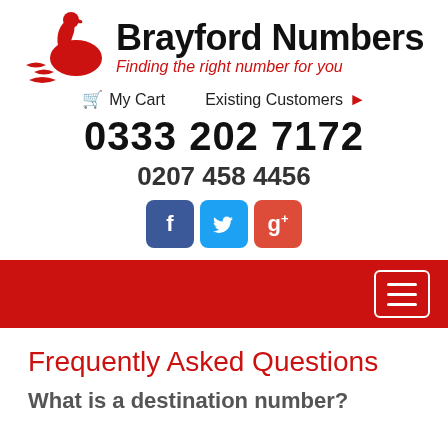[Figure (logo): Brayford Numbers logo with red swan and text 'Brayford Numbers' in black bold, subtitle 'Finding the right number for you' in red italic]
My Cart   Existing Customers ▶
0333 202 7172
0207 458 4456
[Figure (infographic): Social media buttons: Facebook (blue), Twitter (light blue), Google+ (red)]
Navigation bar (red background with hamburger menu icon)
Frequently Asked Questions
What is a destination number?